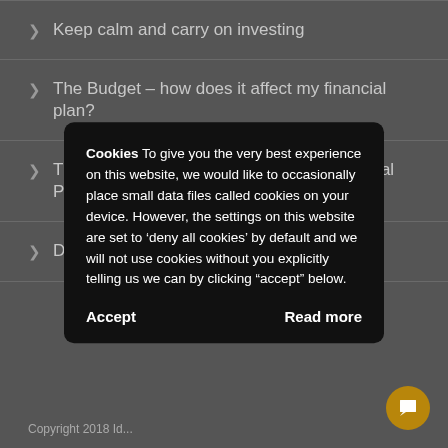> Keep calm and carry on investing
> The Budget – how does it affect my financial plan?
> The Most Important Ingredients in a Financial Plan – Introduction
> Do you want an 'average' retirement?
Cookies To give you the very best experience on this website, we would like to occasionally place small data files called cookies on your device. However, the settings on this website are set to 'deny all cookies' by default and we will not use cookies without you explicitly telling us we can by clicking "accept" below.
Accept
Read more
Copyright 2018 Id...